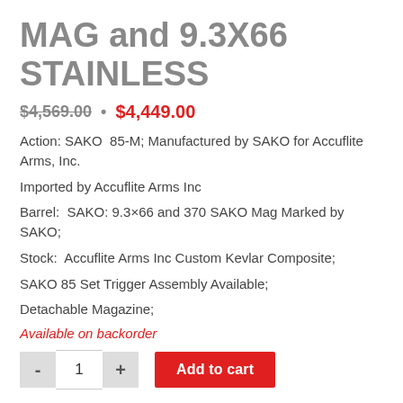MAG and 9.3X66 STAINLESS
$4,569.00 · $4,449.00
Action: SAKO  85-M; Manufactured by SAKO for Accuflite Arms, Inc.
Imported by Accuflite Arms Inc
Barrel:  SAKO: 9.3×66 and 370 SAKO Mag Marked by SAKO;
Stock:  Accuflite Arms Inc Custom Kevlar Composite;
SAKO 85 Set Trigger Assembly Available;
Detachable Magazine;
Available on backorder